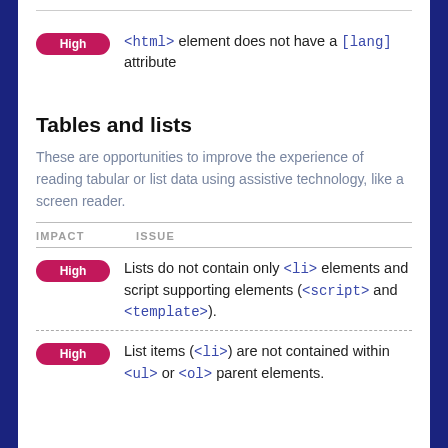High | <html> element does not have a [lang] attribute
Tables and lists
These are opportunities to improve the experience of reading tabular or list data using assistive technology, like a screen reader.
High | Lists do not contain only <li> elements and script supporting elements (<script> and <template>).
High | List items (<li>) are not contained within <ul> or <ol> parent elements.